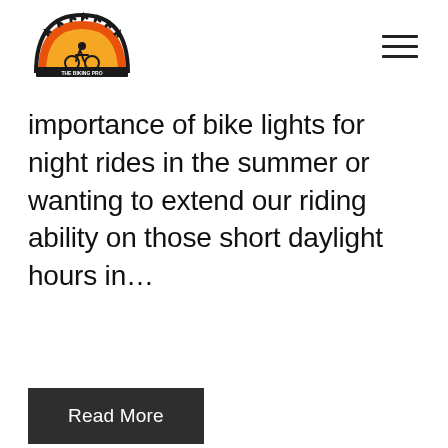[logo] [hamburger menu icon]
importance of bike lights for night rides in the summer or wanting to extend our riding ability on those short daylight hours in…
Read More
[Figure (photo): Close-up photo of bicycle components (water bottles or similar cylindrical metal parts) on a textured blue/grey background]